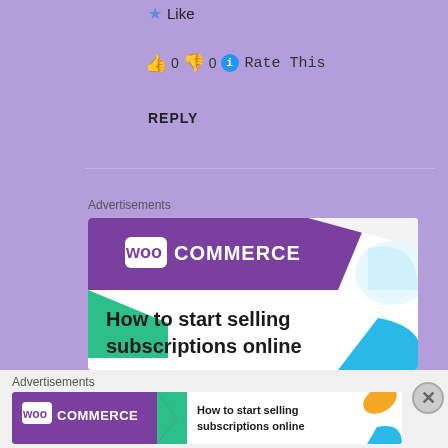★ Like
👍 0  👎 0  ℹ Rate This
REPLY
Advertisements
[Figure (illustration): WooCommerce advertisement: purple banner with WooCommerce logo, green and teal geometric shapes, text 'How to start selling subscriptions online']
Advertisements
[Figure (illustration): WooCommerce small advertisement banner with logo and text 'How to start selling subscriptions online', orange leaf shape]